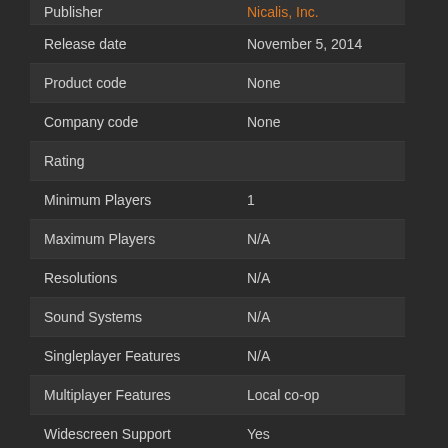| Field | Value |
| --- | --- |
| Publisher | Nicalis, Inc. |
| Release date | November 5, 2014 |
| Product code | None |
| Company code | None |
| Rating |  |
| Minimum Players | 1 |
| Maximum Players | N/A |
| Resolutions | N/A |
| Sound Systems | N/A |
| Singleplayer Features | N/A |
| Multiplayer Features | Local co-op |
| Widescreen Support | Yes |
| Notes | N/A |